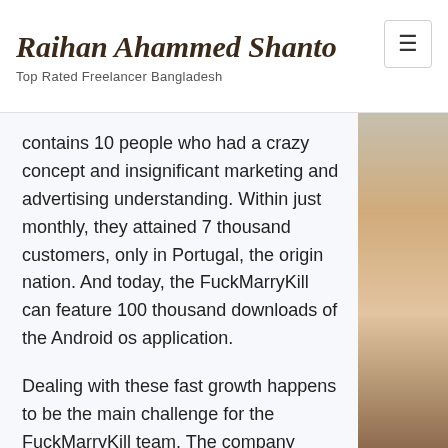Raihan Ahammed Shanto
Top Rated Freelancer Bangladesh
contains 10 people who had a crazy concept and insignificant marketing and advertising understanding. Within just monthly, they attained 7 thousand customers, only in Portugal, the origin nation. And today, the FuckMarryKill can feature 100 thousand downloads of the Android os application.
Dealing with these fast growth happens to be the main challenge for the FuckMarryKill team. The company behind this project is build laboratories, a Portuguese startups facility launched in 2014. This reality suggests both the software and its owners